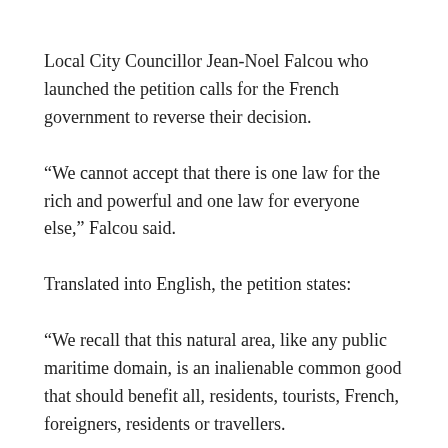Local City Councillor Jean-Noel Falcou who launched the petition calls for the French government to reverse their decision.
“We cannot accept that there is one law for the rich and powerful and one law for everyone else,” Falcou said.
Translated into English, the petition states:
“We recall that this natural area, like any public maritime domain, is an inalienable common good that should benefit all, residents, tourists, French, foreigners, residents or travellers.
“The people who want to come to France have to respect